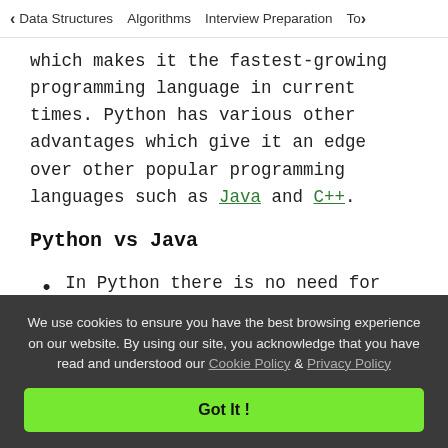< Data Structures   Algorithms   Interview Preparation   To>
which makes it the fastest-growing programming language in current times. Python has various other advantages which give it an edge over other popular programming languages such as Java and C++.
Python vs Java
In Python there is no need for semicolon and curly braces in the program as compared to Java which will show syntax error if one forgot
We use cookies to ensure you have the best browsing experience on our website. By using our site, you acknowledge that you have read and understood our Cookie Policy & Privacy Policy
Got It !